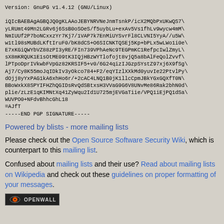Version: GnuPG v1.4.12 (GNU/Linux)

iQIcBAEBAgAGBQJQ0gKLAAoJEBYNRVNeJnmTsnkP/icX2MQbPxUKwQS7
yLRUmt49Mn2LGRv6j6SsB0oSOeS/f5uybLu+exAv5Vs1fhLv9wycw4mM
NmIUUf2P7boNCxxzYr7Kj7/1VAP7k7EnMiUYSvrFl8CLVNI5YyA//u5W
w1tl98sMUBdLKftIruF0/bK8dCS+O6SICNKTQSEj5Kp+bPLx5wLWo1i0e
E7xKGiQWYbVZ88zPI3yRE/FIn739VPhAeNc9TEGPmKC1RefpcIwlZmyL
sX8mKRQUK1E1sOtME09tK3IQjHBzWYTlofojt8vjQ5a8bAlFeQolZvvf
lPTpoDprIVkwbFVpGz82KRSIF5+v0/6G24qizIJGzpSYstZ97xj6X9fSg
Aj7/Cy8K55moJqIDkIv3yOkco784+F2/eqYIzlXXkMd0yuvIe22PtvlPy
dOjj8yYxPAG1kA6xhHo6r/+2cAC4LNQ1B0jK1llcCpmJBkYGxGQXfT0N
BBoWxkX8SPYIFHZhQGIDsRvQdSBtxsH3VVaG9G6V8UNvMe86Rak2bhN0d
plie/zLzE1qKIMNtXq41ZyWqu2Id1U725mjEVGaTiie/VPQ1iEjPQ1dSa
WUVPO0+NFdvBhhcGhL18
=AJfT
-----END PGP SIGNATURE-----
Powered by blists - more mailing lists
Please check out the Open Source Software Security Wiki, which is counterpart to this mailing list.
Confused about mailing lists and their use? Read about mailing lists on Wikipedia and check out these guidelines on proper formatting of your messages.
[Figure (logo): Openwall logo badge with eye icon and OPENWALL text]